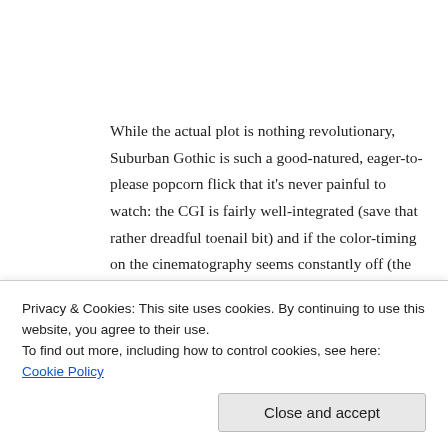While the actual plot is nothing revolutionary, Suburban Gothic is such a good-natured, eager-to-please popcorn flick that it's never painful to watch: the CGI is fairly well-integrated (save that rather dreadful toenail bit) and if the color-timing on the cinematography seems constantly off (the film has an odd red cast that's pretty noticeable), cinematographer Lucas Lee Graham (who also shot the much more striking Excision) serves up plenty of
Privacy & Cookies: This site uses cookies. By continuing to use this website, you agree to their use.
To find out more, including how to control cookies, see here: Cookie Policy
Close and accept